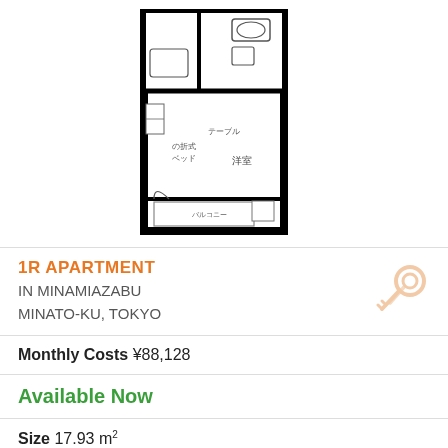[Figure (engineering-diagram): Floor plan of a 1R apartment showing room layout with bathroom, balcony, and living space with Japanese labels]
1R APARTMENT IN MINAMIAZABU MINATO-KU, TOKYO
Monthly Costs ¥88,128
Available Now
Size 17.93 m²
Deposit ¥78,000